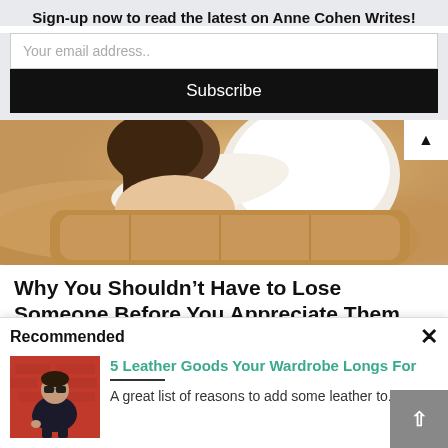Sign-up now to read the latest on Anne Cohen Writes!
Your email address..
Subscribe
[Figure (photo): Two people on a leather sofa, view from behind, one in white shirt with arm around the other, warm sunlit tones]
Why You Shouldn't Have to Lose Someone Before You Appreciate Them
Recommended
[Figure (photo): Man in sunglasses and dark jacket sitting against a red wall]
5 Leather Goods Your Wardrobe Longs For
A great list of reasons to add some leather to...